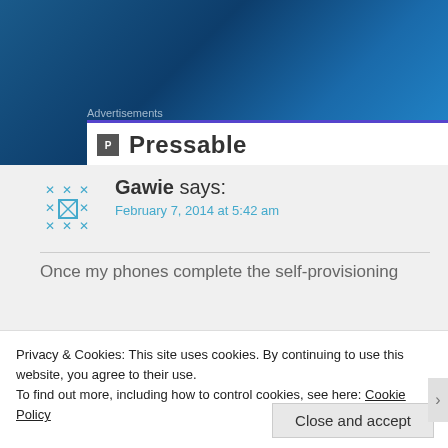[Figure (screenshot): Blue gradient website header background with Advertisements label and Pressable ad box with purple top border]
Advertisements
Pressable
Gawie says:
February 7, 2014 at 5:42 am
Once my phones complete the self-provisioning
Privacy & Cookies: This site uses cookies. By continuing to use this website, you agree to their use.
To find out more, including how to control cookies, see here: Cookie Policy
Close and accept